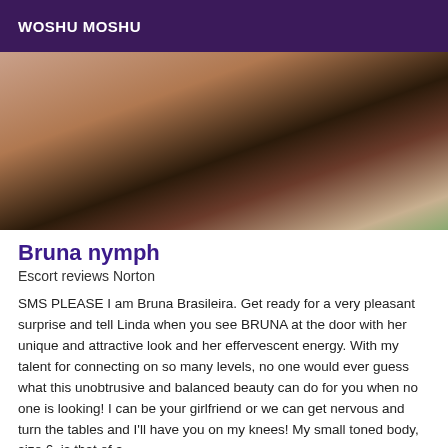WOSHU MOSHU
[Figure (photo): Close-up photo of a person wearing black lingerie]
Bruna nymph
Escort reviews Norton
SMS PLEASE I am Bruna Brasileira. Get ready for a very pleasant surprise and tell Linda when you see BRUNA at the door with her unique and attractive look and her effervescent energy. With my talent for connecting on so many levels, no one would ever guess what this unobtrusive and balanced beauty can do for you when no one is looking! I can be your girlfriend or we can get nervous and turn the tables and I'll have you on my knees! My small toned body, size 6, is that of a